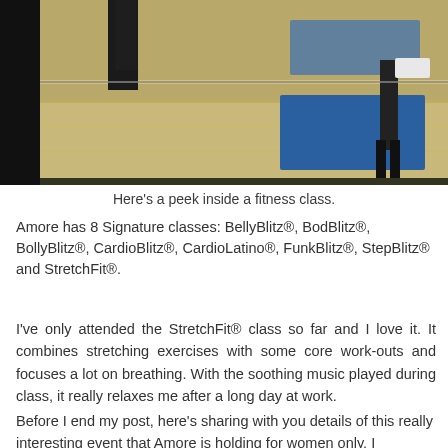[Figure (photo): Interior of a fitness class/studio with a wooden floor, large mirror, and blue yoga mat visible. A person in dark clothing stands near the mirror.]
Here's a peek inside a fitness class.
Amore has 8 Signature classes: BellyBlitz®, BodBlitz®, BollyBlitz®, CardioBlitz®, CardioLatino®, FunkBlitz®, StepBlitz® and StretchFit®.
I've only attended the StretchFit® class so far and I love it. It combines stretching exercises with some core work-outs and focuses a lot on breathing. With the soothing music played during class, it really relaxes me after a long day at work.
Before I end my post, here's sharing with you details of this really interesting event that Amore is holding for women only. I